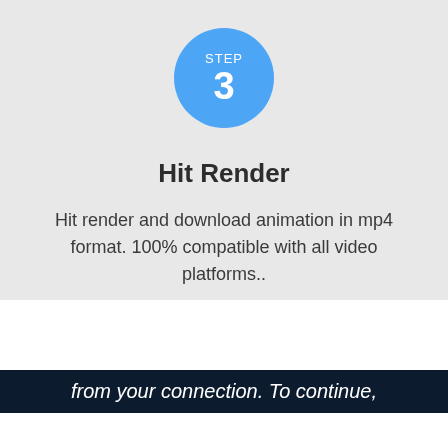[Figure (infographic): Blue circle with 'STEP' label and large number '3' in white text]
Hit Render
Hit render and download animation in mp4 format. 100% compatible with all video platforms..
from your connection. To continue,